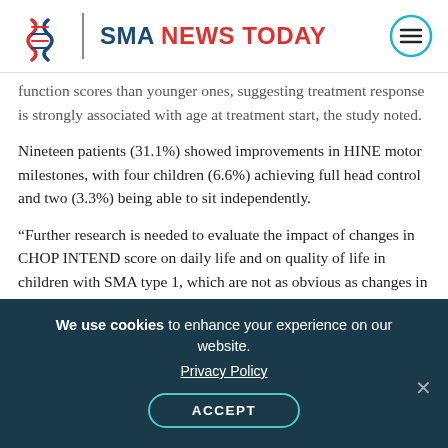SMA NEWS TODAY
function scores than younger ones, suggesting treatment response is strongly associated with age at treatment start, the study noted.
Nineteen patients (31.1%) showed improvements in HINE motor milestones, with four children (6.6%) achieving full head control and two (3.3%) being able to sit independently.
“Further research is needed to evaluate the impact of changes in CHOP INTEND score on daily life and on quality of life in children with SMA type 1, which are not as obvious as changes in motor
We use cookies to enhance your experience on our website. Privacy Policy ACCEPT